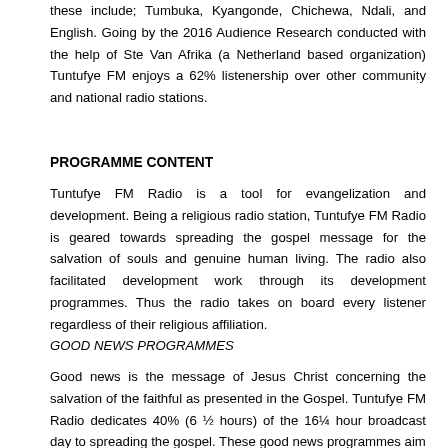these include; Tumbuka, Kyangonde, Chichewa, Ndali, and English. Going by the 2016 Audience Research conducted with the help of Ste Van Afrika (a Netherland based organization) Tuntufye FM enjoys a 62% listenership over other community and national radio stations.
PROGRAMME CONTENT
Tuntufye FM Radio is a tool for evangelization and development. Being a religious radio station, Tuntufye FM Radio is geared towards spreading the gospel message for the salvation of souls and genuine human living. The radio also facilitated development work through its development programmes. Thus the radio takes on board every listener regardless of their religious affiliation.
GOOD NEWS PROGRAMMES
Good news is the message of Jesus Christ concerning the salvation of the faithful as presented in the Gospel. Tuntufye FM Radio dedicates 40% (6 ½ hours) of the 16¼ hour broadcast day to spreading the gospel. These good news programmes aim